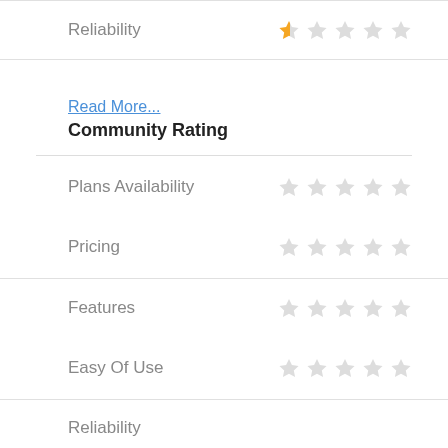Reliability — 1 star (out of 5)
Read More...
Community Rating
Plans Availability — 0 stars
Pricing — 0 stars
Features — 0 stars
Easy Of Use — 0 stars
Reliability (partial, cut off)